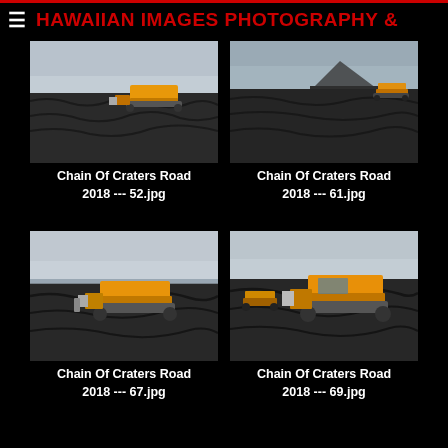≡  HAWAIIAN IMAGES PHOTOGRAPHY &
[Figure (photo): Bulldozer on dark lava field with overcast sky, Chain Of Craters Road 2018]
Chain Of Craters Road 2018 --- 52.jpg
[Figure (photo): Bulldozer on wide dark lava field with mountain silhouette and cloudy sky, Chain Of Craters Road 2018]
Chain Of Craters Road 2018 --- 61.jpg
[Figure (photo): Large yellow bulldozer on lava field with ocean visible, Chain Of Craters Road 2018]
Chain Of Craters Road 2018 --- 67.jpg
[Figure (photo): Large yellow bulldozer close-up on lava field with overcast sky, Chain Of Craters Road 2018]
Chain Of Craters Road 2018 --- 69.jpg